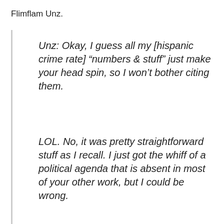Flimflam Unz.
Unz: Okay, I guess all my [hispanic crime rate] “numbers & stuff” just make your head spin, so I won’t bother citing them.
LOL. No, it was pretty straightforward stuff as I recall. I just got the whiff of a political agenda that is absent in most of your other work, but I could be wrong.
First, the...